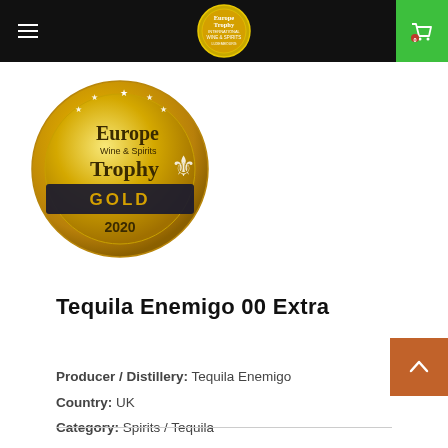Europe Trophy International Wine & Spirits Luxembourg — navigation header with hamburger menu and cart (0)
[Figure (illustration): Europe Wine & Spirits Trophy GOLD 2020 circular gold medal with fleur-de-lis design and stars]
Tequila Enemigo 00 Extra
Producer / Distillery: Tequila Enemigo
Country: UK
Category: Spirits / Tequila